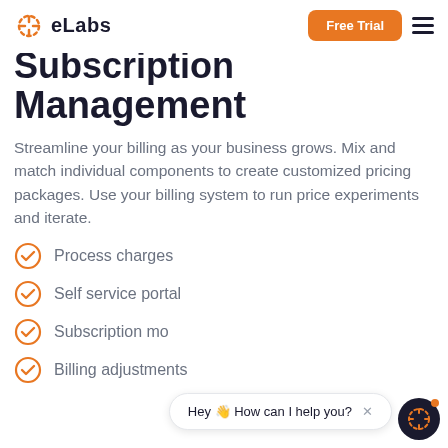eLabs | Free Trial
Subscription Management
Streamline your billing as your business grows. Mix and match individual components to create customized pricing packages. Use your billing system to run price experiments and iterate.
Process charges
Self service portal
Subscription mo...
Billing adjustments